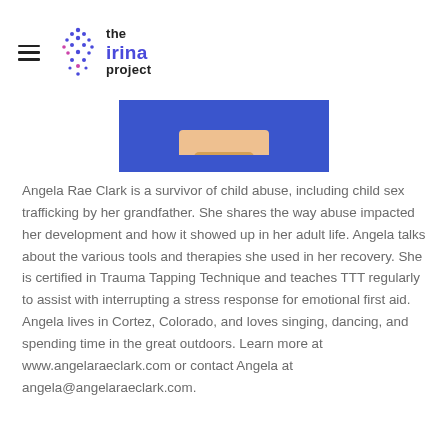the irina project
[Figure (photo): Partial photo showing a person in a blue outfit with gold necklace, cropped at the top]
Angela Rae Clark is a survivor of child abuse, including child sex trafficking by her grandfather. She shares the way abuse impacted her development and how it showed up in her adult life. Angela talks about the various tools and therapies she used in her recovery. She is certified in Trauma Tapping Technique and teaches TTT regularly to assist with interrupting a stress response for emotional first aid. Angela lives in Cortez, Colorado, and loves singing, dancing, and spending time in the great outdoors. Learn more at www.angelaraeclark.com or contact Angela at angela@angelaraeclark.com.